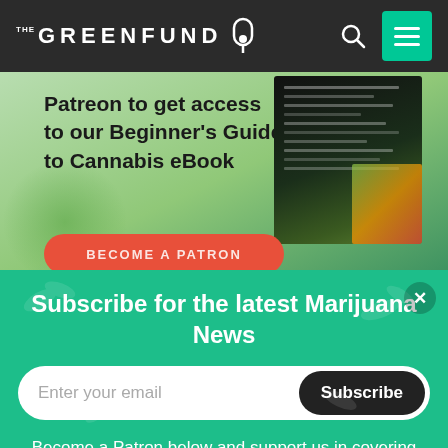THE GREENFUND
[Figure (screenshot): Banner advertisement for The Green Fund Patreon campaign offering access to a Beginner's Guide to Cannabis eBook. Shows text 'Patreon to get access to our Beginner's Guide to Cannabis eBook' with a book image and a red rounded button at the bottom.]
Subscribe for the latest Marijuana News
Enter your email
Subscribe
Become a Patron below and support us in covering the latest marijuana news!
Become a patron